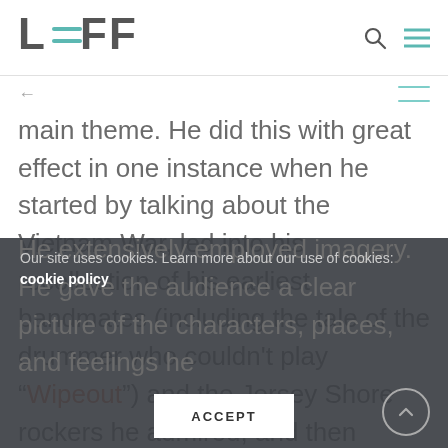LEFF
main theme. He did this with great effect in one instance when he started by talking about the Vietnam War, led into his recollection of his earliest bandmates (including the tale of the drummer who couldn't play "Wipeout") and the Jersey Shore rockers he admired, and then described the deaths of some of those musicians in the war.
Our site uses cookies. Learn more about our use of cookies: cookie policy
He extensively employed imagery. He gave the audience a clear picture of the characters, places, and feelings he